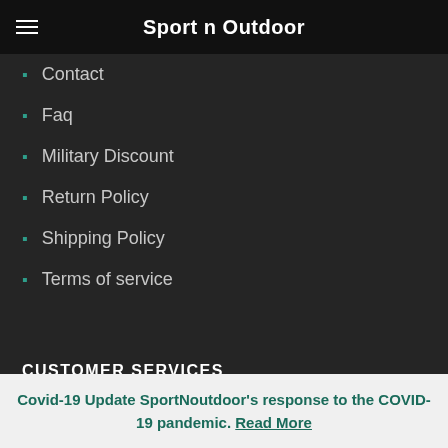Sport n Outdoor
Contact
Faq
Military Discount
Return Policy
Shipping Policy
Terms of service
CUSTOMER SERVICES
Help Center
Covid-19 Update SportNoutdoor's response to the COVID-19 pandemic. Read More